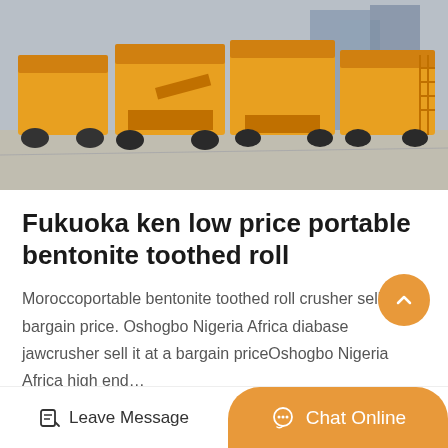[Figure (photo): Outdoor yard with multiple large yellow portable crushing/mining machines lined up on a concrete surface, with buildings visible in the background.]
Fukuoka ken low price portable bentonite toothed roll
Moroccoportable bentonite toothed roll crusher sell it at a bargain price. Oshogbo Nigeria Africa diabase jawcrusher sell it at a bargain priceOshogbo Nigeria Africa high end…